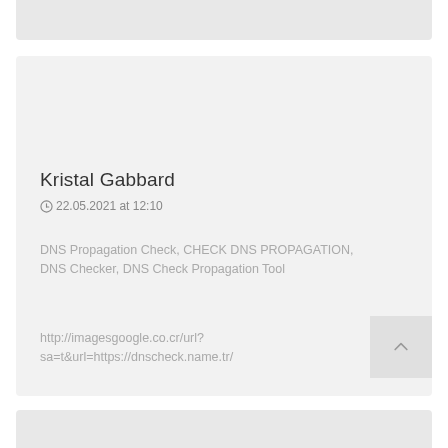Kristal Gabbard
⊙22.05.2021 at 12:10
DNS Propagation Check, CHECK DNS PROPAGATION, DNS Checker, DNS Check Propagation Tool
http://imagesgoogle.co.cr/url?sa=t&url=https://dnscheck.name.tr/